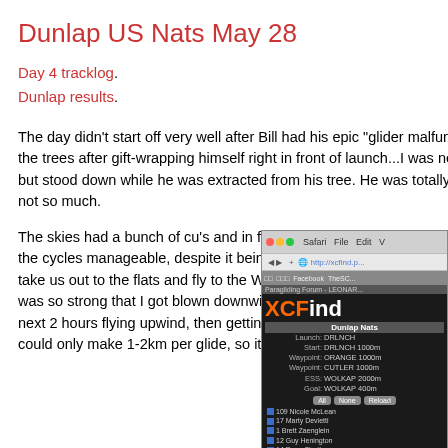Dunlap US Nats May 28
Day 4 tracklog.
Dunlap results.
The day didn't start off very well after Bill had his epic "glider malfunction", falling into the trees after gift-wrapping himself right in front of launch...I was next in line to launch but stood down while he was extracted from his tree.  He was totally OK but the glider, not so much.
The skies had a bunch of cu's and in fact the shade from the clouds was keeping the cycles manageable, despite it being pretty windy out in the sun.  The task was to take us out to the flats and fly to the Woodlake airport, and it was hard!  The wind was so strong that I got blown downwind of the direct courseline and then spent the next 2 hours flying upwind, then getting blown back downwind in the thermals.  I could only make 1-2km per glide, so it took many glides to cover the ~20km ;)
[Figure (screenshot): Screenshot of XCFind website showing Dunlap Nats task details and pilot list in Safari browser]